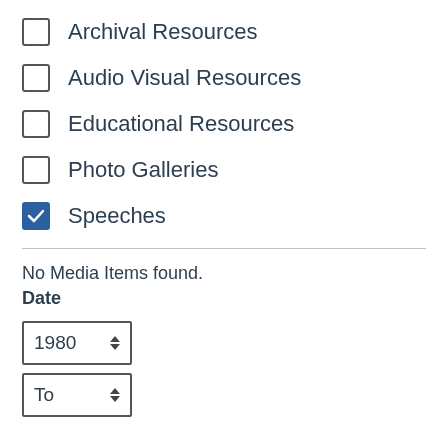Archival Resources (unchecked)
Audio Visual Resources (unchecked)
Educational Resources (unchecked)
Photo Galleries (unchecked)
Speeches (checked)
No Media Items found.
Date
1980
To